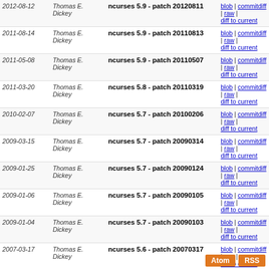| Date | Author | Subject | Links |
| --- | --- | --- | --- |
| 2012-08-12 | Thomas E. Dickey | ncurses 5.9 - patch 20120811 | blob | commitdiff | raw | diff to current |
| 2011-08-14 | Thomas E. Dickey | ncurses 5.9 - patch 20110813 | blob | commitdiff | raw | diff to current |
| 2011-05-08 | Thomas E. Dickey | ncurses 5.9 - patch 20110507 | blob | commitdiff | raw | diff to current |
| 2011-03-20 | Thomas E. Dickey | ncurses 5.8 - patch 20110319 | blob | commitdiff | raw | diff to current |
| 2010-02-07 | Thomas E. Dickey | ncurses 5.7 - patch 20100206 | blob | commitdiff | raw | diff to current |
| 2009-03-15 | Thomas E. Dickey | ncurses 5.7 - patch 20090314 | blob | commitdiff | raw | diff to current |
| 2009-01-25 | Thomas E. Dickey | ncurses 5.7 - patch 20090124 | blob | commitdiff | raw | diff to current |
| 2009-01-06 | Thomas E. Dickey | ncurses 5.7 - patch 20090105 | blob | commitdiff | raw | diff to current |
| 2009-01-04 | Thomas E. Dickey | ncurses 5.7 - patch 20090103 | blob | commitdiff | raw | diff to current |
| 2007-03-17 | Thomas E. Dickey | ncurses 5.6 - patch 20070317 | blob | commitdiff | raw | diff to current |
| 2006-12-18 | Thomas E. Dickey | ncurses 5.6  v5.6 | blob | commitdiff | raw | diff to current |
ncurses, with patches starting at ncurses-5.6; new users should use https://github.com/ThomasDickey/ncurses-snapshots/